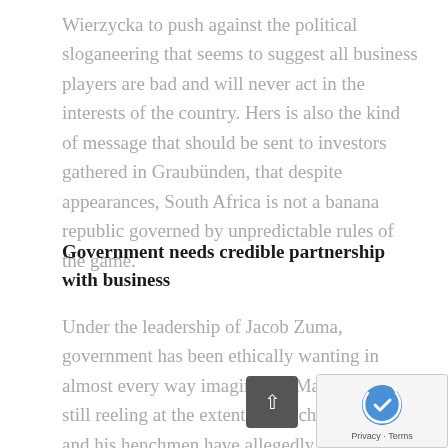Wierzycka to push against the political sloganeering that seems to suggest all business players are bad and will never act in the interests of the country. Hers is also the kind of message that should be sent to investors gathered in Graubünden, that despite appearances, South Africa is not a banana republic governed by unpredictable rules of the game.
Government needs credible partnership with business
Under the leadership of Jacob Zuma, government has been ethically wanting in almost every way imaginable. Many of us are still reeling at the extent to which this man and his henchmen have allegedly been able to derail the reputational fortunes of a